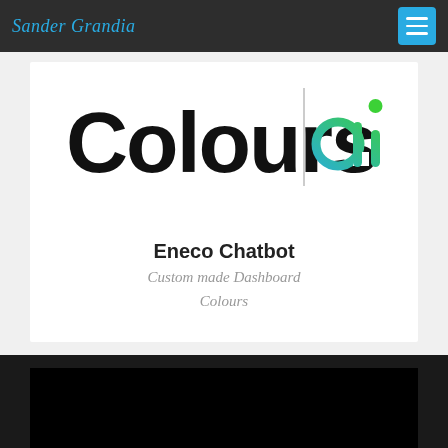Sander Grandia
[Figure (logo): Colours | ai logo — 'Colours' in large black bold text, a vertical grey dividing line, and 'ai' in green gradient text with a green dot above the 'i']
Eneco Chatbot
Custom made Dashboard
Colours